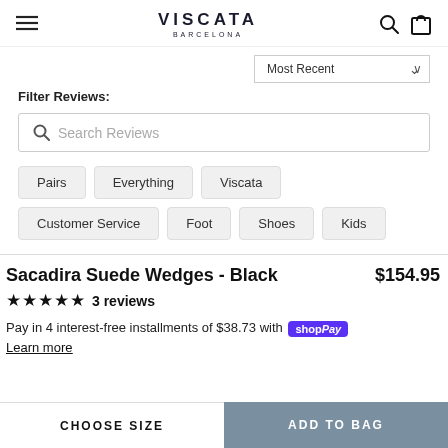VISCATA BARCELONA
Filter Reviews:
Search Reviews
Pairs
Everything
Viscata
Customer Service
Foot
Shoes
Kids
Sacadira Suede Wedges - Black
$154.95
★★★★★ 3 reviews
Pay in 4 interest-free installments of $38.73 with Shop Pay
Learn more
CHOOSE SIZE
ADD TO BAG